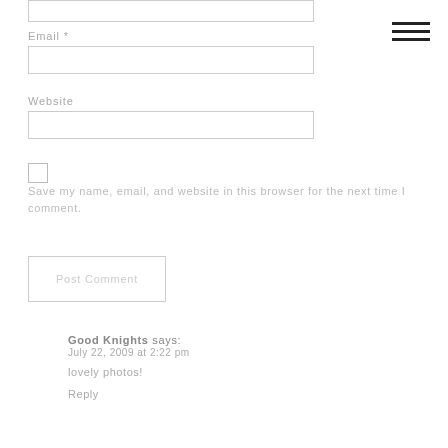Email *
Website
Save my name, email, and website in this browser for the next time I comment.
Post Comment
Good Knights says:
July 22, 2009 at 2:22 pm
lovely photos!
Reply